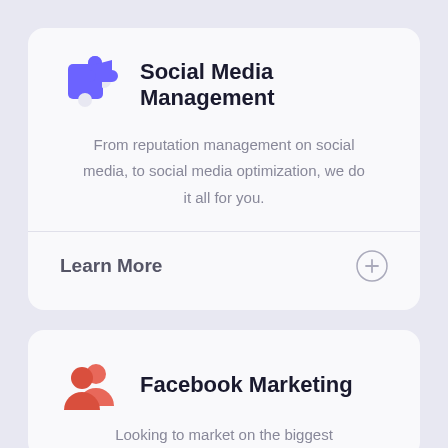Social Media Management
From reputation management on social media, to social media optimization, we do it all for you.
Learn More
Facebook Marketing
Looking to market on the biggest